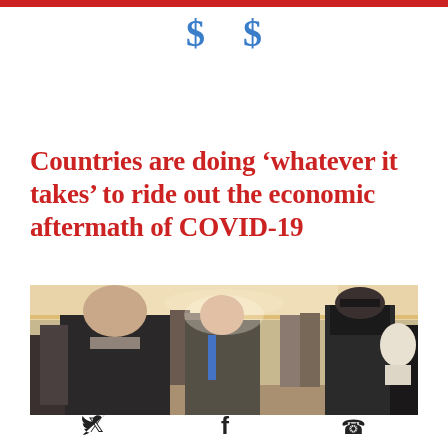[Figure (illustration): Two blue dollar sign symbols at the top of the page on white background, below a thin red horizontal bar]
Countries are doing ‘whatever it takes’ to ride out the economic aftermath of COVID-19
[Figure (photo): Photo of government officials walking through a grand corridor, including a woman in foreground, a man in blue tie carrying documents (center), and a police officer on the right]
[Figure (infographic): Social media share icons: Twitter bird, Facebook f, and WhatsApp phone icon]